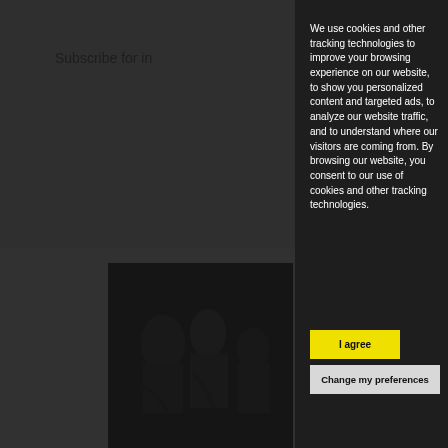Subscribe for in
[Figure (photo): Black and white photo of people]
[Figure (logo): White star/figure logo and HU text on black background]
We use cookies and other tracking technologies to improve your browsing experience on our website, to show you personalized content and targeted ads, to analyze our website traffic, and to understand where our visitors are coming from. By browsing our website, you consent to our use of cookies and other tracking technologies.
I agree
Change my preferences